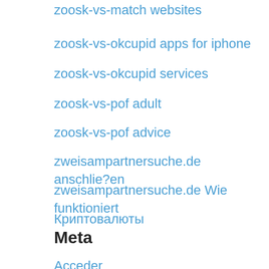zoosk-vs-match websites
zoosk-vs-okcupid apps for iphone
zoosk-vs-okcupid services
zoosk-vs-pof adult
zoosk-vs-pof advice
zweisampartnersuche.de anschlie?en
zweisampartnersuche.de Wie funktioniert
Криптовалюты
Meta
Acceder